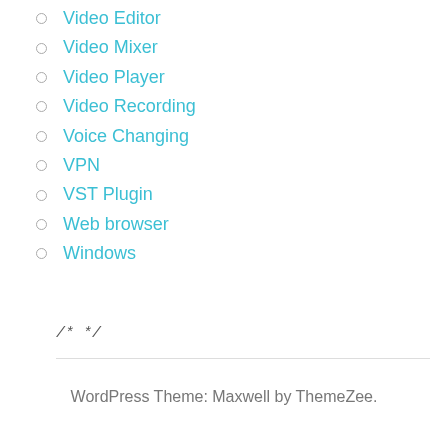Video Editor
Video Mixer
Video Player
Video Recording
Voice Changing
VPN
VST Plugin
Web browser
Windows
/* */
WordPress Theme: Maxwell by ThemeZee.